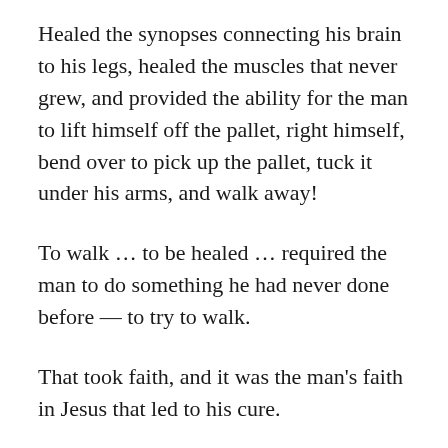Healed the synopses connecting his brain to his legs, healed the muscles that never grew, and provided the ability for the man to lift himself off the pallet, right himself, bend over to pick up the pallet, tuck it under his arms, and walk away!
To walk … to be healed … required the man to do something he had never done before — to try to walk.
That took faith, and it was the man's faith in Jesus that led to his cure.
It's faith in Jesus that leads to forgiveness of sins.